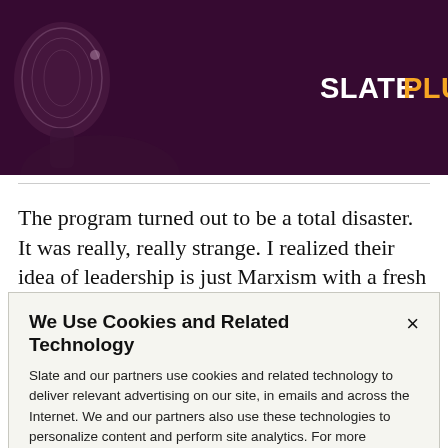[Figure (photo): Dark purple header banner with a microphone and person silhouette on the left, and the Slate Plus logo on the right. The logo shows 'SLATE' in white bold text and 'PLUS' in orange/gold bold text.]
The program turned out to be a total disaster. It was really, really strange. I realized their idea of leadership is just Marxism with a fresh coat of paint. They had this
We Use Cookies and Related Technology

Slate and our partners use cookies and related technology to deliver relevant advertising on our site, in emails and across the Internet. We and our partners also use these technologies to personalize content and perform site analytics. For more information, see our terms and privacy policy.  Privacy Policy

OK